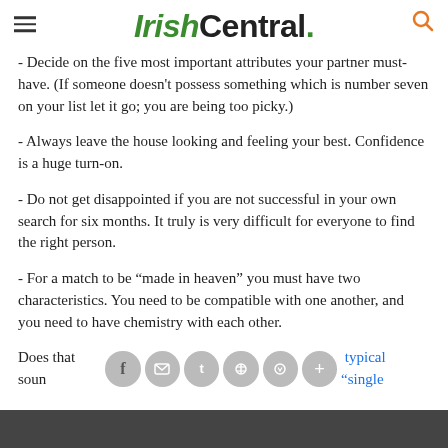IrishCentral.
- Decide on the five most important attributes your partner must-have.  (If someone doesn't possess something which is number seven on your list let it go; you are being too picky.)
- Always leave the house looking and feeling your best. Confidence is a huge turn-on.
- Do not get disappointed if you are not successful in your own search for six months.  It truly is very difficult for everyone to find the right person.
- For a match to be “made in heaven” you must have two characteristics. You need to be compatible with one another, and you need to have chemistry with each other.
Does that sound easy. typical “single